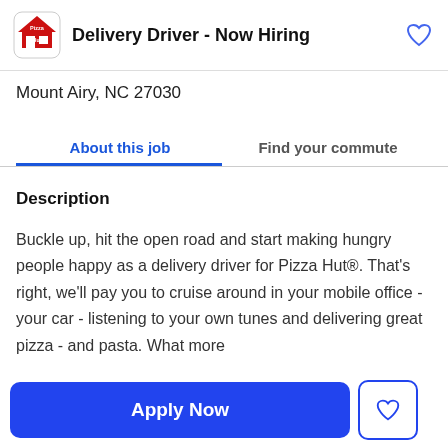Delivery Driver - Now Hiring
Mount Airy, NC 27030
About this job
Find your commute
Description
Buckle up, hit the open road and start making hungry people happy as a delivery driver for Pizza Hut®. That's right, we'll pay you to cruise around in your mobile office - your car - listening to your own tunes and delivering great pizza - and pasta. What more
Apply Now